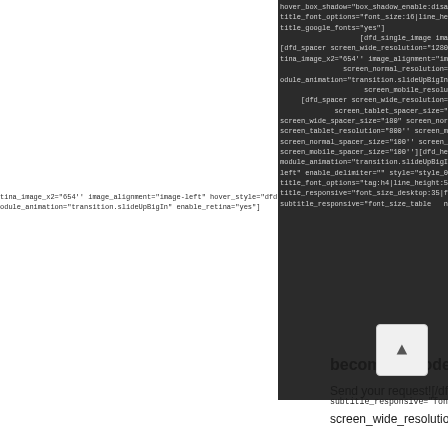[Figure (screenshot): Screenshot of a code editor or CMS shortcode text, showing attribute-heavy shortcode content including hover_box_shadow, title_font_options, title_google_fonts, dfd_single_image, dfd_spacer, screen parameters, module_animation, dfd_heading attributes, become a model? heading, and Send your request! text. Dark background region on right portion, white background on left and bottom.]